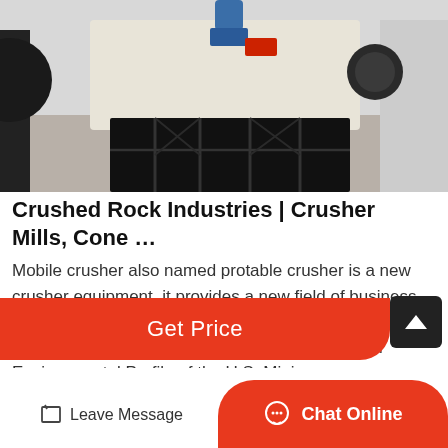[Figure (photo): Industrial rock crusher machine, white and black body with blue hydraulic component on top, sitting on a concrete warehouse floor]
Crushed Rock Industries | Crusher Mills, Cone …
Mobile crusher also named protable crusher is a new crusher equipment, it provides a new field of business opportunities … Limestone and Crushed Rock – Energy.gov | Department of Energy Energ9 y and Environmental Profile of the U.S. Mining…
Get Price
Leave Message
Chat Online